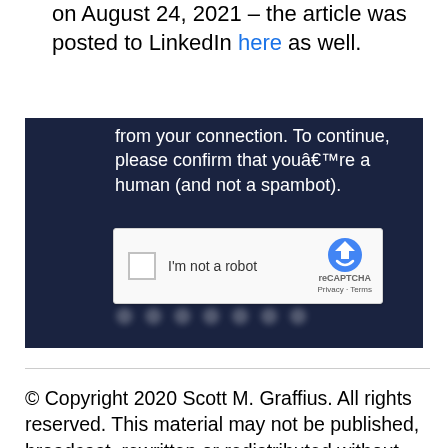on August 24, 2021 – the article was posted to LinkedIn here as well.
[Figure (screenshot): A screenshot of a LinkedIn page showing a CAPTCHA challenge with dark navy background. Text reads 'from your connection. To continue, please confirm that youâ€™re a human (and not a spambot).' with a reCAPTCHA widget showing 'I'm not a robot' checkbox, reCAPTCHA logo, and Privacy · Terms links.]
© Copyright 2020 Scott M. Graffius. All rights reserved. This material may not be published, broadcast, rewritten or redistributed without the express written